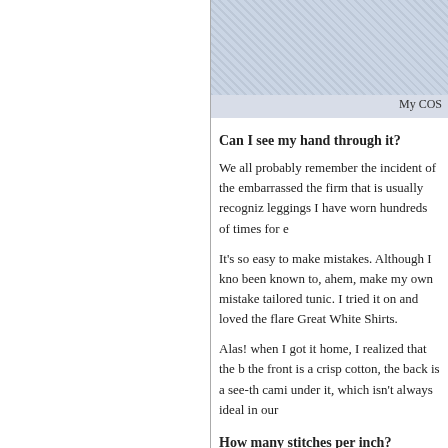[Figure (photo): Fabric/textile close-up image, partially visible at top right]
My COS
Can I see my hand through it?
We all probably remember the incident of the embarrassed the firm that is usually recogniz leggings I have worn hundreds of times for e
It's so easy to make mistakes. Although I kno been known to, ahem, make my own mistake tailored tunic. I tried it on and loved the flare Great White Shirts.
Alas! when I got it home, I realized that the b the front is a crisp cotton, the back is a see-th cami under it, which isn't always ideal in our
How many stitches per inch?
One way to tell if the stitching is going to ho inch is the norm for a shirt or blouse.
Where is the fabric from?